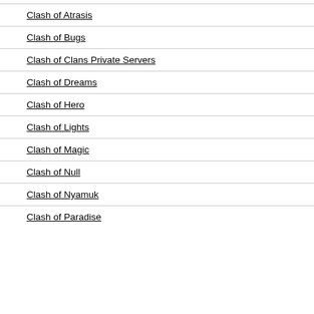Clash of Atrasis
Clash of Bugs
Clash of Clans Private Servers
Clash of Dreams
Clash of Hero
Clash of Lights
Clash of Magic
Clash of Null
Clash of Nyamuk
Clash of Paradise